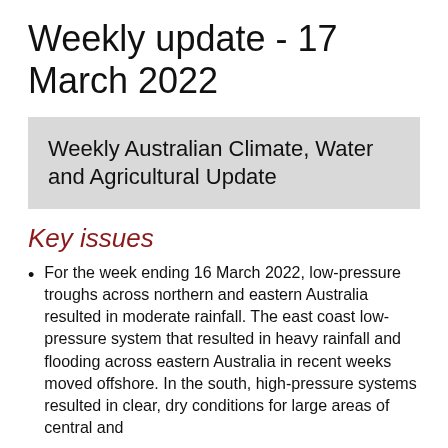Weekly update - 17 March 2022
Weekly Australian Climate, Water and Agricultural Update
Key issues
For the week ending 16 March 2022, low-pressure troughs across northern and eastern Australia resulted in moderate rainfall. The east coast low-pressure system that resulted in heavy rainfall and flooding across eastern Australia in recent weeks moved offshore. In the south, high-pressure systems resulted in clear, dry conditions for large areas of central and